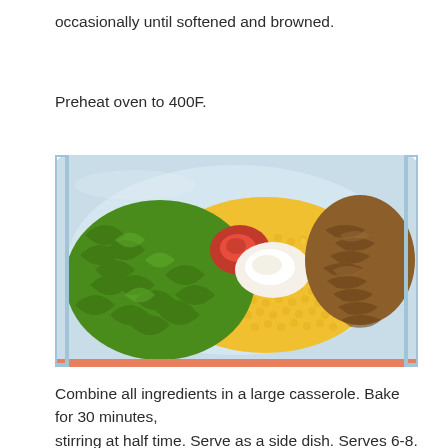occasionally until softened and browned.
Preheat oven to 400F.
[Figure (photo): A light blue casserole dish filled with ingredients including corn kernels, fresh green herbs/basil, a dollop of cream cheese, red tomato salsa, and caramelized/browned onions arranged separately before mixing.]
Combine all ingredients in a large casserole. Bake for 30 minutes, stirring at half time. Serve as a side dish. Serves 6-8. Fantastic